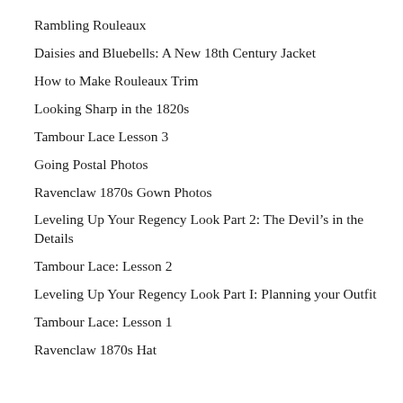Rambling Rouleaux
Daisies and Bluebells: A New 18th Century Jacket
How to Make Rouleaux Trim
Looking Sharp in the 1820s
Tambour Lace Lesson 3
Going Postal Photos
Ravenclaw 1870s Gown Photos
Leveling Up Your Regency Look Part 2: The Devil’s in the Details
Tambour Lace: Lesson 2
Leveling Up Your Regency Look Part I: Planning your Outfit
Tambour Lace: Lesson 1
Ravenclaw 1870s Hat